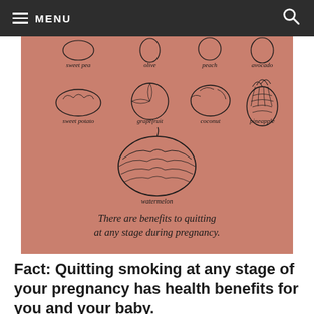MENU
[Figure (infographic): Pink-background infographic showing illustrated fruits (sweet pea, olive, peach, avocado, sweet potato, grapefruit, coconut, pineapple, watermelon) with caption: 'There are benefits to quitting at any stage during pregnancy.']
Fact: Quitting smoking at any stage of your pregnancy has health benefits for you and your baby.